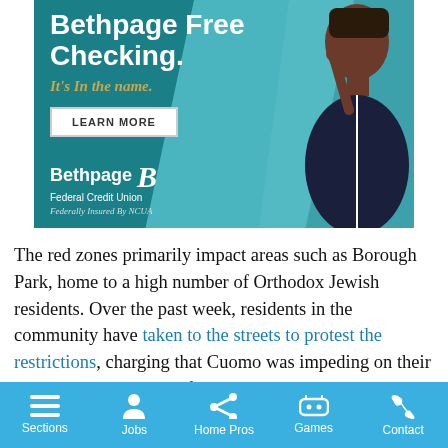[Figure (photo): Bethpage Federal Credit Union advertisement banner. Teal/dark background with a Black woman in a navy blazer pointing upward. Text: 'Bethpage Free Checking. It's in the name.' with a LEARN MORE button and Bethpage Federal Credit Union logo. Federally Insured By NCUA.]
The red zones primarily impact areas such as Borough Park, home to a high number of Orthodox Jewish residents. Over the past week, residents in the community have taken to the streets to protest the restrictions, charging that Cuomo was impeding on their ability to practice their faith.
Sections  Jobs  Home Pros  Games  Contact